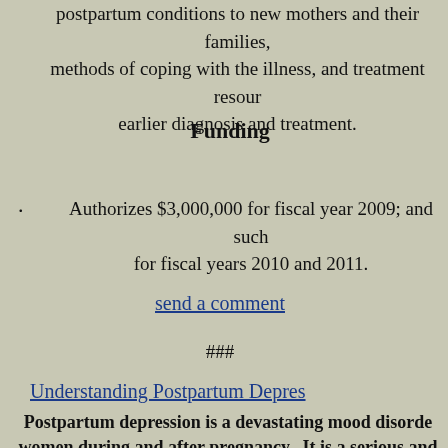postpartum conditions to new mothers and their families, methods of coping with the illness, and treatment resources, earlier diagnosis and treatment.
Funding
Authorizes $3,000,000 for fiscal year 2009; and such for fiscal years 2010 and 2011.
send a comment
###
Understanding Postpartum Depres
Postpartum depression is a devastating mood disorder women during and after pregnancy. It is a serious and affects anywhere from 10 to 20 percent of new mothers there may be as many as 800,000 new cases of postpartum These mothers often experience signs of depression a